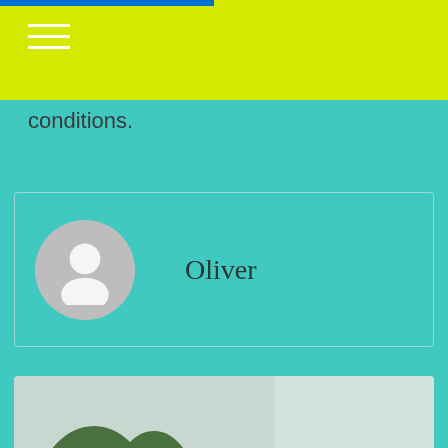conditions.
[Figure (photo): Author profile card showing a default avatar silhouette and the name Oliver]
[Figure (photo): Family outdoor photo showing a man with glasses holding two young children, with trees and hills in the background]